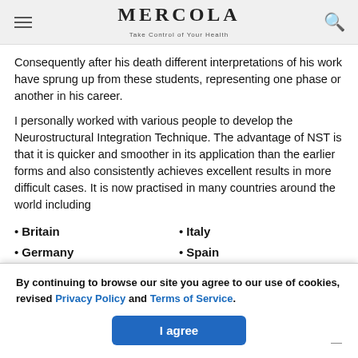MERCOLA — Take Control of Your Health
Consequently after his death different interpretations of his work have sprung up from these students, representing one phase or another in his career.
I personally worked with various people to develop the Neurostructural Integration Technique. The advantage of NST is that it is quicker and smoother in its application than the earlier forms and also consistently achieves excellent results in more difficult cases. It is now practised in many countries around the world including
Britain
Germany
Switzerland
Italy
Spain
USA
By continuing to browse our site you agree to our use of cookies, revised Privacy Policy and Terms of Service.